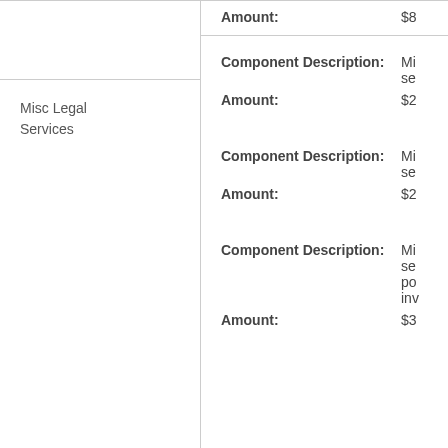Amount: $8...
Misc Legal Services
Component Description: Mi... se...
Amount: $2...
Component Description: Mi... se...
Amount: $2...
Component Description: Mi... se... po... inv...
Amount: $3...